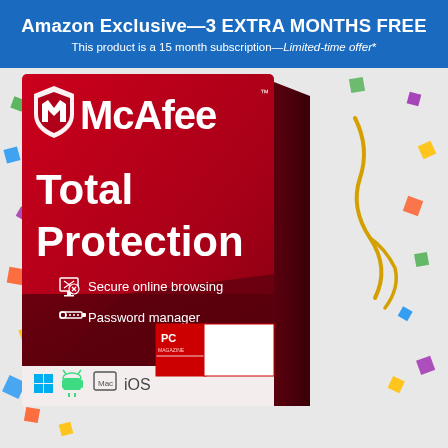Amazon Exclusive—3 EXTRA MONTHS FREE
This product is a 15 month subscription—Limited-time offer*
[Figure (photo): McAfee Total Protection software box with red background, McAfee shield logo, product features (Secure online browsing, Password manager), platform icons (Windows, Android, Mac, iOS), PC Magazine Editors' Choice 32 Time Winner badge, and colorful confetti decoration around the box.]